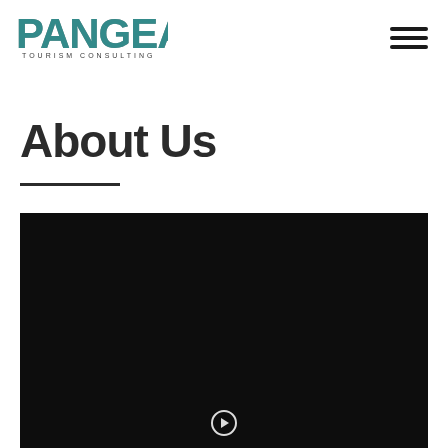[Figure (logo): Pangea Tourism Consulting logo — stylized teal/dark lettering spelling PANGEA with TOURISM CONSULTING below]
[Figure (other): Hamburger menu icon with three horizontal black lines]
About Us
[Figure (photo): Dark/black video thumbnail with a small play button circle at the bottom center]